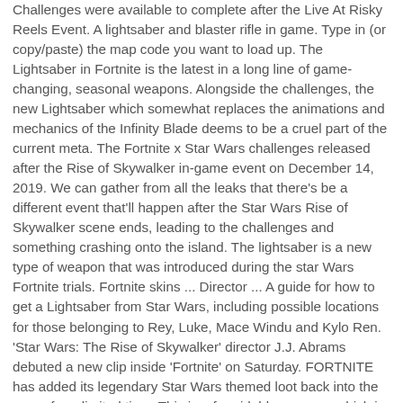Challenges were available to complete after the Live At Risky Reels Event. A lightsaber and blaster rifle in game. Type in (or copy/paste) the map code you want to load up. The Lightsaber in Fortnite is the latest in a long line of game-changing, seasonal weapons. Alongside the challenges, the new Lightsaber which somewhat replaces the animations and mechanics of the Infinity Blade deems to be a cruel part of the current meta. The Fortnite x Star Wars challenges released after the Rise of Skywalker in-game event on December 14, 2019. We can gather from all the leaks that there's be a different event that'll happen after the Star Wars Rise of Skywalker scene ends, leading to the challenges and something crashing onto the island. The lightsaber is a new type of weapon that was introduced during the star Wars Fortnite trials. Fortnite skins ... Director ... A guide for how to get a Lightsaber from Star Wars, including possible locations for those belonging to Rey, Luke, Mace Windu and Kylo Ren. 'Star Wars: The Rise of Skywalker' director J.J. Abrams debuted a new clip inside 'Fortnite' on Saturday. FORTNITE has added its legendary Star Wars themed loot back into the game for a limited time. This is a formidable weapon, which in addition to causing huge damage can block shots at close range, which is trying to cause you an opponent. Step 3: Enter the code for the map you want to play. Fortnite Star Wars event it's over. Related Articles. Plenty of players are now